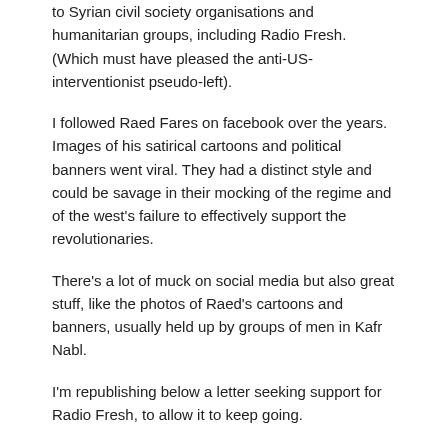to Syrian civil society organisations and humanitarian groups, including Radio Fresh. (Which must have pleased the anti-US-interventionist pseudo-left).
I followed Raed Fares on facebook over the years. Images of his satirical cartoons and political banners went viral. They had a distinct style and could be savage in their mocking of the regime and of the west's failure to effectively support the revolutionaries.
There's a lot of muck on social media but also great stuff, like the photos of Raed's cartoons and banners, usually held up by groups of men in Kafr Nabl.
I'm republishing below a letter seeking support for Radio Fresh, to allow it to keep going.
Also, I've been gathering images of some of Raed's work and share them here, after the letter below. My favourite is the one linking the Syrian uprising to the bigger picture of democratic revolution beyond Syria.